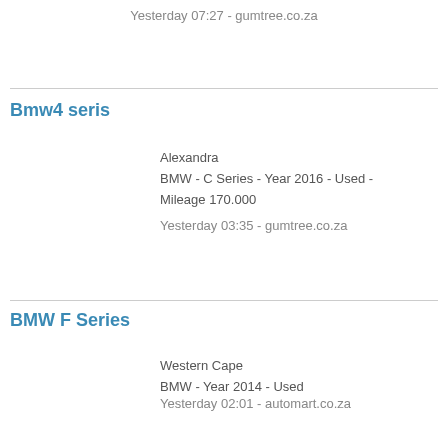Yesterday 07:27 - gumtree.co.za
Bmw4 seris
Alexandra
BMW - C Series - Year 2016 - Used - Mileage 170.000
Yesterday 03:35 - gumtree.co.za
BMW F Series
Western Cape
BMW - Year 2014 - Used
Yesterday 02:01 - automart.co.za